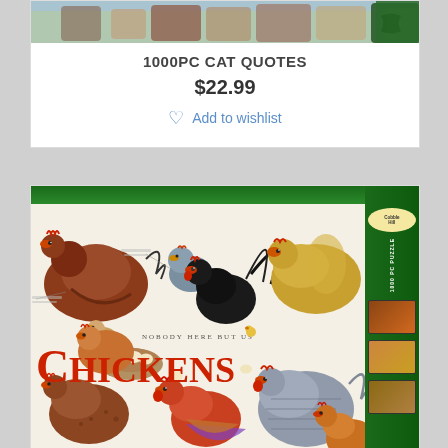[Figure (photo): Top portion of a puzzle box showing cats — partially visible at the top of the page, cropped]
1000PC CAT QUOTES
$22.99
Add to wishlist
[Figure (photo): Puzzle box for 'Nobody Here But Us Chickens' 1000-piece puzzle. The box shows a collage of various chicken breeds on a white background with 'NOBODY HERE BUT US CHICKENS' text in large red letters. The box has a dark green border/spine on the right side with small preview images.]